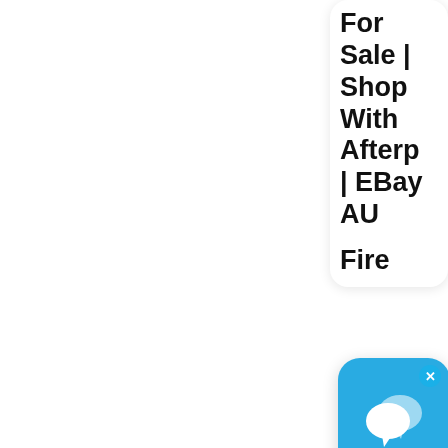For Sale | Shop With Afterp | EBay AU
Fire
[Figure (screenshot): Chat app icon popup with blue background and two white speech bubbles, with an X close button in the top right corner]
[Figure (photo): Circular thumbnail photo of industrial machinery or engine components]
Heavy Duty Canva Hosed Resist
[Figure (other): Red circular scroll-to-top button with double upward chevron arrows in white]